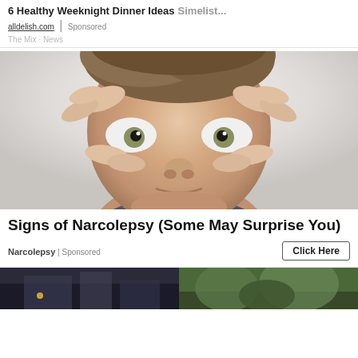6 Healthy Weeknight Dinner Ideas
alldelish.com | Sponsored
The Mix · News
[Figure (photo): Young man using his fingers to pry open his eyelids wide, making a surprised/wide-eyed expression, looking directly at camera]
Signs of Narcolepsy (Some May Surprise You)
Narcolepsy | Sponsored
Click Here
[Figure (photo): Two small thumbnail images at the bottom of the page, left one appears dark/urban scene, right one appears to be a green outdoor/nature scene]